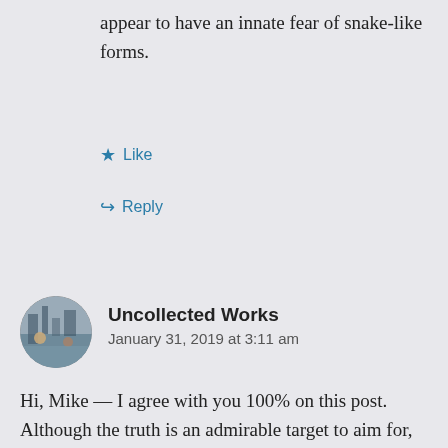appear to have an innate fear of snake-like forms.
Like
Reply
Uncollected Works
January 31, 2019 at 3:11 am
Hi, Mike — I agree with you 100% on this post. Although the truth is an admirable target to aim for, being the “perfect” assertion about objective reality, the perfect has often been the enemy of the “good enough”. The scientific method has always adopted humility (and